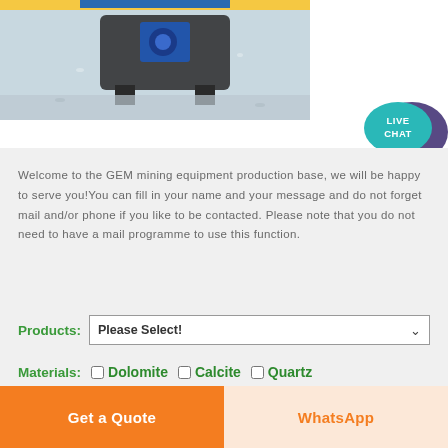[Figure (photo): Photo of mining equipment / machine on a surface, partially visible at top of page]
[Figure (other): Live Chat speech bubble icon with text LIVE CHAT in teal/purple colors]
Welcome to the GEM mining equipment production base, we will be happy to serve you!You can fill in your name and your message and do not forget mail and/or phone if you like to be contacted. Please note that you do not need to have a mail programme to use this function.
Products: Please Select!
Materials: □ Dolomite □ Calcite □ Quartz □ Basalt □ Barite □ Feldspar
Get a Quote
WhatsApp